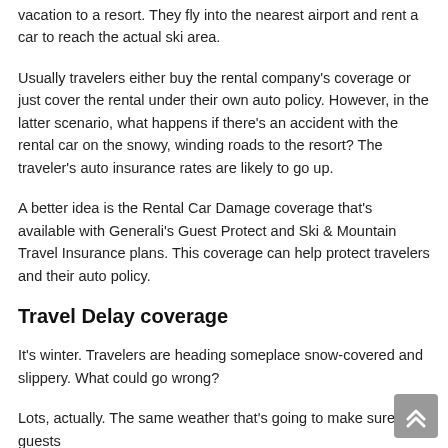vacation to a resort. They fly into the nearest airport and rent a car to reach the actual ski area.
Usually travelers either buy the rental company's coverage or just cover the rental under their own auto policy. However, in the latter scenario, what happens if there's an accident with the rental car on the snowy, winding roads to the resort? The traveler's auto insurance rates are likely to go up.
A better idea is the Rental Car Damage coverage that's available with Generali's Guest Protect and Ski & Mountain Travel Insurance plans. This coverage can help protect travelers and their auto policy.
Travel Delay coverage
It's winter. Travelers are heading someplace snow-covered and slippery. What could go wrong?
Lots, actually. The same weather that's going to make sure guests